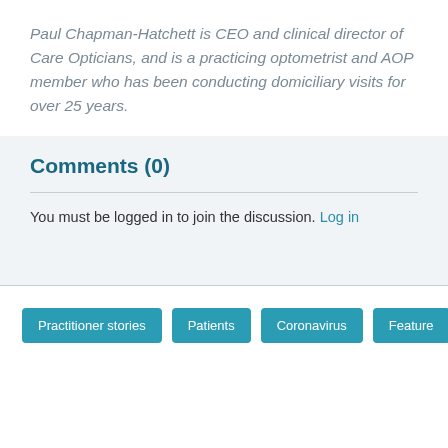Paul Chapman-Hatchett is CEO and clinical director of Care Opticians, and is a practicing optometrist and AOP member who has been conducting domiciliary visits for over 25 years.
Comments (0)
You must be logged in to join the discussion. Log in
Practitioner stories
Patients
Coronavirus
Feature